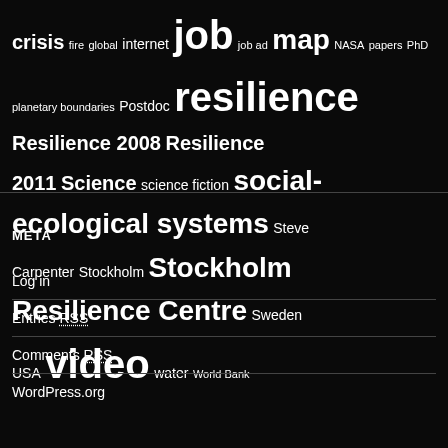crisis fire global internet job job ad map NASA papers PhD planetary boundaries Postdoc resilience Resilience 2008 Resilience 2011 Science science fiction social-ecological systems Steve Carpenter Stockholm Stockholm Resilience Centre Sweden USA video water World Bank
META
Log in
Entries RSS
Comments RSS
WordPress.org